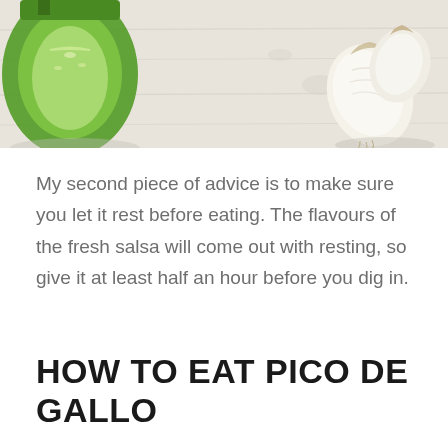[Figure (photo): Top-down photo of a halved green bell pepper on the left and two garlic cloves on the right, on a white wooden surface.]
My second piece of advice is to make sure you let it rest before eating. The flavours of the fresh salsa will come out with resting, so give it at least half an hour before you dig in.
HOW TO EAT PICO DE GALLO